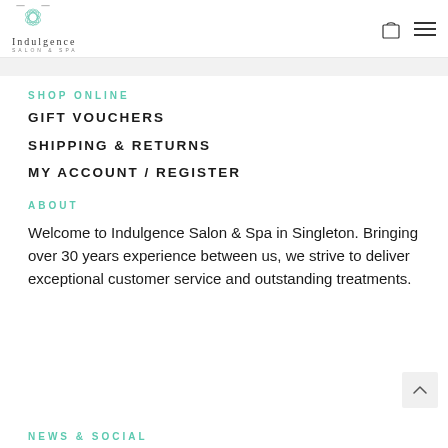[Figure (logo): Indulgence Salon & Spa logo with lotus flower icon and text]
SHOP ONLINE
GIFT VOUCHERS
SHIPPING & RETURNS
MY ACCOUNT / REGISTER
ABOUT
Welcome to Indulgence Salon & Spa in Singleton. Bringing over 30 years experience between us, we strive to deliver exceptional customer service and outstanding treatments.